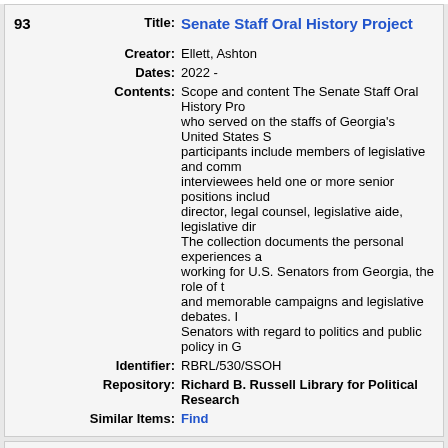| # | Field | Value |
| --- | --- | --- |
| 93 | Title: | Senate Staff Oral History Project |
|  | Creator: | Ellett, Ashton |
|  | Dates: | 2022 - |
|  | Contents: | Scope and content The Senate Staff Oral History Project... who served on the staffs of Georgia's United States S... participants include members of legislative and comm... interviewees held one or more senior positions includ... director, legal counsel, legislative aide, legislative dir... The collection documents the personal experiences a... working for U.S. Senators from Georgia, the role of t... and memorable campaigns and legislative debates. ... Senators with regard to politics and public policy in G... |
|  | Identifier: | RBRL/530/SSOH |
|  | Repository: | Richard B. Russell Library for Political Research |
|  | Similar Items: | Find |
| # | Field | Value |
| --- | --- | --- |
| 94 | Title: | Senatus Academicus minutes |
|  | Creator: | University of Georgia. Senatus Academicus |
|  | Dates: | 1799-1842 |
|  | Contents: | This collection consists of the Senatus Academicus'... of the Senatus Academicus volume are two documen... oldest, a note from 1857, specifies that President Ald... and the Senatus, with the exception of the current vo... the state capitol, then in Milledgeville. Pasted over th... Augustus Longstreet Hull, the Secretary and Trea... |